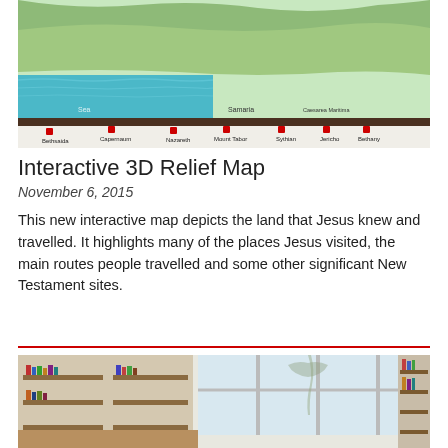[Figure (photo): Photograph of an interactive 3D relief map showing the land of Israel/Palestine with labeled biblical sites including Bethsaida, Capernaum, Nazareth, Mount Tabor, Sythian, Jericho, Bethany, and Samaria, with the Sea of Galilee rendered in blue.]
Interactive 3D Relief Map
November 6, 2015
This new interactive map depicts the land that Jesus knew and travelled. It highlights many of the places Jesus visited, the main routes people travelled and some other significant New Testament sites.
[Figure (photo): Photograph of a library or bookshop interior with shelves full of books, display cases, and large windows showing bare trees outside.]